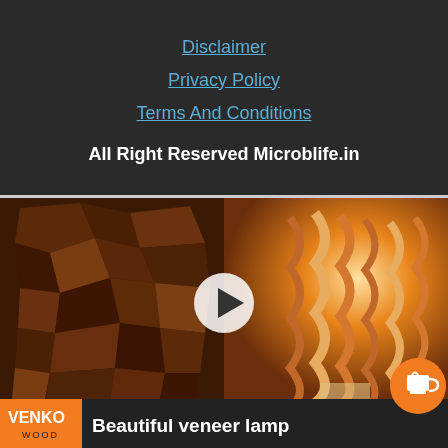Disclaimer
Privacy Policy
Terms And Conditions
All Right Reserved Microblife.in
[Figure (screenshot): Video thumbnail showing wood pieces on the left and a glowing veneer lamp shade on the right, with a play button in the center. Bottom bar shows VENKO WOOD logo and 'Beautiful veneer lamp' title.]